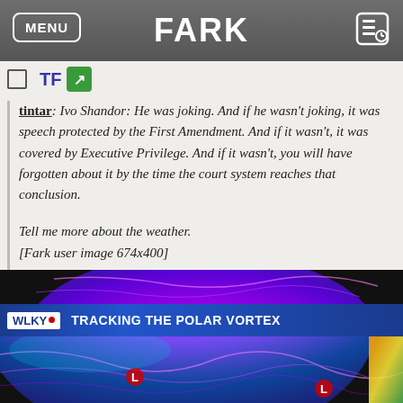MENU  FARK
TF
tintar: Ivo Shandor: He was joking. And if he wasn't joking, it was speech protected by the First Amendment. And if it wasn't, it was covered by Executive Privilege. And if it wasn't, you will have forgotten about it by the time the court system reaches that conclusion.

Tell me more about the weather.
[Fark user image 674x400]

oh man, GIS for "weather tits" certainly gets... interesting.
[Figure (screenshot): WLKY news broadcast screenshot showing polar vortex weather map with TRACKING THE POLAR VORTEX chyron. Purple and magenta swirling weather patterns on a globe map.]